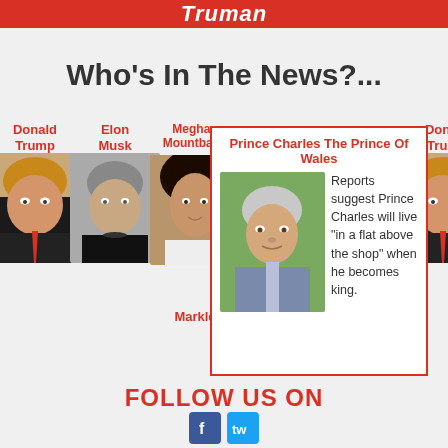Truman
Who's In The News?...
[Figure (photo): Carousel of news personalities: Donald Trump, Elon Musk, Meghan Mountbatten Markle, Prince Charles The Prince Of Wales, Donald Trump (repeated)]
Prince Charles The Prince Of Wales — Reports suggest Prince Charles will live "in a flat above the shop" when he becomes king.
FOLLOW US ON